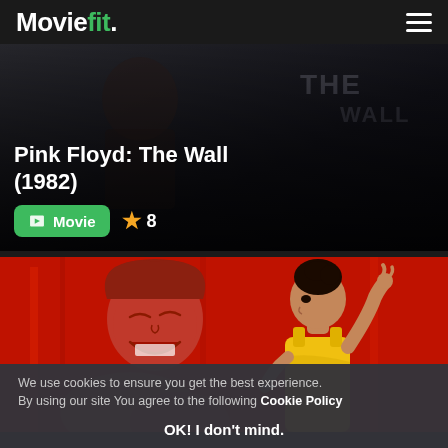Moviefit.
Pink Floyd: The Wall (1982)
Movie  ★ 8
[Figure (illustration): Animated illustration with red background showing two figures: a person on the left laughing/crying with reddish tones, and a woman on the right in a yellow dress with dark hair up]
We use cookies to ensure you get the best experience. By using our site You agree to the following Cookie Policy
OK! I don't mind.